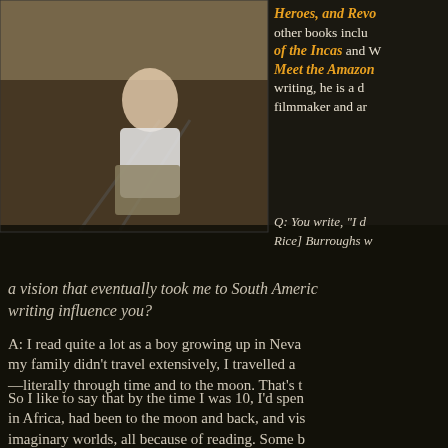[Figure (photo): Author sitting outdoors on steps or rail, wearing white long-sleeve shirt and khaki pants, with railroad tracks or outdoor scenery in background]
Heroes, and Revo other books inclu of the Incas and Meet the Amazon writing, he is a d filmmaker and ar
Q: You write, "I d Rice] Burroughs w a vision that eventually took me to South Americ writing influence you?
A: I read quite a lot as a boy growing up in Neva my family didn’t travel extensively, I travelled a —literally through time and to the moon. That’s t
So I like to say that by the time I was 10, I’d spen in Africa, had been to the moon and back, and vis imaginary worlds, all because of reading. Some b are better than others, and those that made the bi